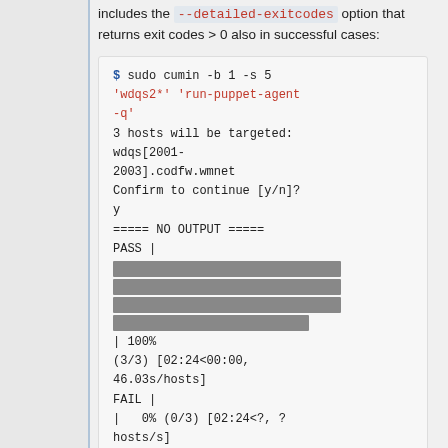includes the --detailed-exitcodes option that returns exit codes > 0 also in successful cases:
$ sudo cumin -b 1 -s 5 'wdqs2*' 'run-puppet-agent -q'
3 hosts will be targeted: wdqs[2001-2003].codfw.wmnet
Confirm to continue [y/n]?
y
===== NO OUTPUT =====
PASS |
[redacted bars]
| 100% (3/3) [02:24<00:00, 46.03s/hosts]
FAIL |
|   0% (0/3) [02:24<?, ? hosts/s]